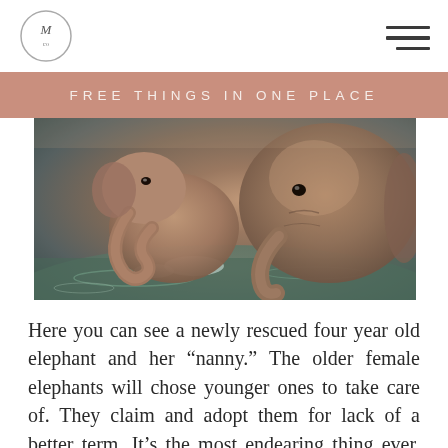M co [logo] | hamburger menu
FREE THINGS IN ONE PLACE
[Figure (photo): A newly rescued four year old baby elephant and an older female elephant splashing in water, trunks raised.]
Here you can see a newly rescued four year old elephant and her “nanny.” The older female elephants will chose younger ones to take care of. They claim and adopt them for lack of a better term. It’s the most endearing thing ever. Your